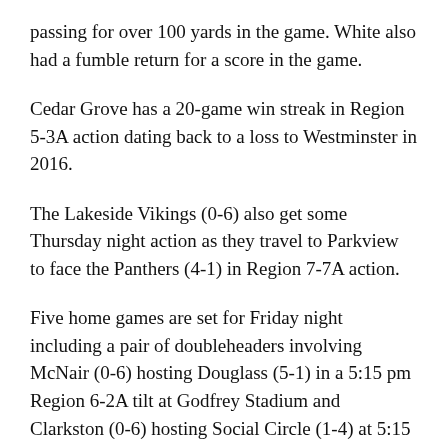passing for over 100 yards in the game. White also had a fumble return for a score in the game.
Cedar Grove has a 20-game win streak in Region 5-3A action dating back to a loss to Westminster in 2016.
The Lakeside Vikings (0-6) also get some Thursday night action as they travel to Parkview to face the Panthers (4-1) in Region 7-7A action.
Five home games are set for Friday night including a pair of doubleheaders involving McNair (0-6) hosting Douglass (5-1) in a 5:15 pm Region 6-2A tilt at Godfrey Stadium and Clarkston (0-6) hosting Social Circle (1-4) at 5:15 pm at Hallford Stadium